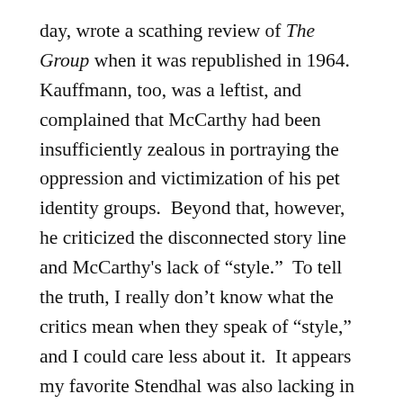day, wrote a scathing review of The Group when it was republished in 1964. Kauffmann, too, was a leftist, and complained that McCarthy had been insufficiently zealous in portraying the oppression and victimization of his pet identity groups. Beyond that, however, he criticized the disconnected story line and McCarthy's lack of “style.” To tell the truth, I really don’t know what the critics mean when they speak of “style,” and I could care less about it. It appears my favorite Stendhal was also lacking in “style.” It’s a matter of complete indifference to me. What I look for in novels are such things as the accurate portrayal of the times in which they were written, insight into human nature, and bits that teach me a